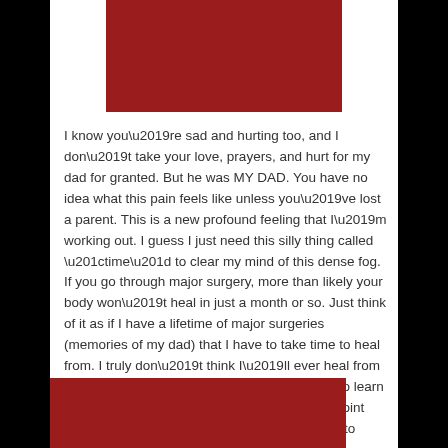[Figure (photo): Dark red/maroon rectangular image block at the top of the page]
I know you’re sad and hurting too, and I don’t take your love, prayers, and hurt for my dad for granted. But he was MY DAD. You have no idea what this pain feels like unless you’ve lost a parent. This is a new profound feeling that I’m working out. I guess I just need this silly thing called “time” to clear my mind of this dense fog. If you go through major surgery, more than likely your body won’t heal in just a month or so. Just think of it as if I have a lifetime of major surgeries (memories of my dad) that I have to take time to heal from. I truly don’t think I’ll ever heal from this great loss, but I do think I’ll be able to learn a new normal. I’ll eventually come to a point where the tears slow down enough for the sun to shine again. But th
[Figure (photo): Dark red/maroon rectangular image block at the bottom of the page, partially visible]